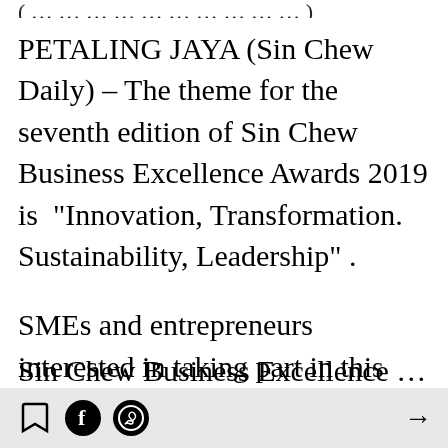(partially visible clipped text at top)
PETALING JAYA (Sin Chew Daily) – The theme for the seventh edition of Sin Chew Business Excellence Awards 2019 is “Innovation, Transformation. Sustainability, Leadership” .
SMEs and entrepreneurs interested in taking part in this year’s contest are encouraged to submit their registration forms.
Sin Chew Business Excellence... (partially visible clipped text at bottom)
Toolbar with bookmark, Facebook, WhatsApp icons and next arrow